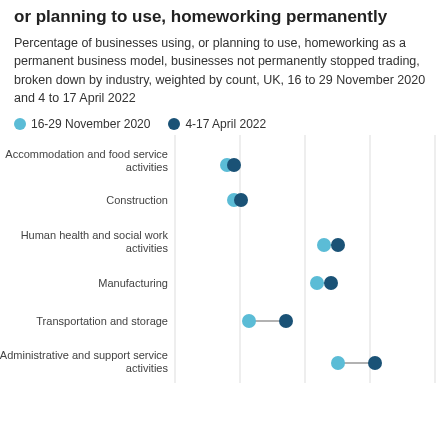or planning to use, homeworking permanently
Percentage of businesses using, or planning to use, homeworking as a permanent business model, businesses not permanently stopped trading, broken down by industry, weighted by count, UK, 16 to 29 November 2020 and 4 to 17 April 2022
[Figure (scatter-plot): Businesses using or planning to use homeworking permanently]